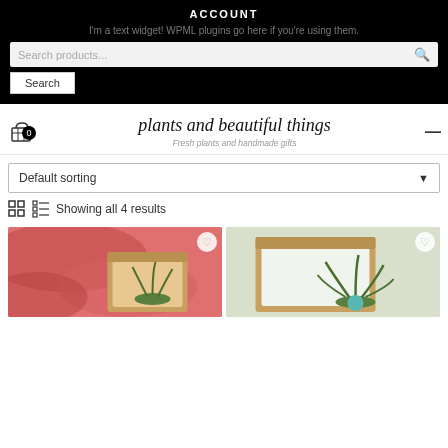ACCOUNT
I'm a text widget! WPML plugins go here if you're using them.
Search products...
Search
[Figure (logo): plants and beautiful things logo with cart icon showing 0 items and hamburger menu dash]
Fresh plants and handmade gifts
Default sorting
Showing all 4 results
[Figure (photo): Two product cards showing plants in bamboo/wooden frames with pink tropical leaf background and heart/wishlist icons]